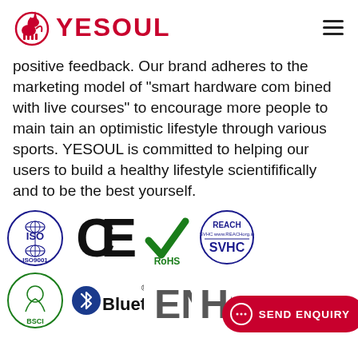YESOUL
positive feedback. Our brand adheres to the marketing model of “smart hardware com bined with live courses” to encourage more people to main tain an optimistic lifestyle through various sports. YESOUL is committed to helping our users to build a healthy lifestyle scientififically and to be the best yourself.
[Figure (logo): Certification logos row 1: ISO ISO9001, CE mark, RoHS checkmark, REACH SVHC badge]
[Figure (logo): Certification logos row 2: BSCI logo, Bluetooth logo, EN and FC marks, Send Enquiry button]